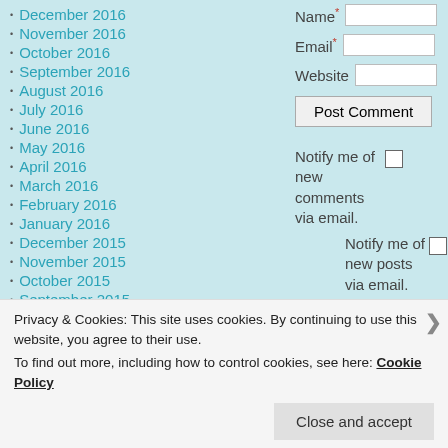December 2016
November 2016
October 2016
September 2016
August 2016
July 2016
June 2016
May 2016
April 2016
March 2016
February 2016
January 2016
December 2015
November 2015
October 2015
September 2015
August 2015
Name* [input] Email* [input] Website [input] Post Comment Notify me of new comments via email. Notify me of new posts via email.
Privacy & Cookies: This site uses cookies. By continuing to use this website, you agree to their use. To find out more, including how to control cookies, see here: Cookie Policy